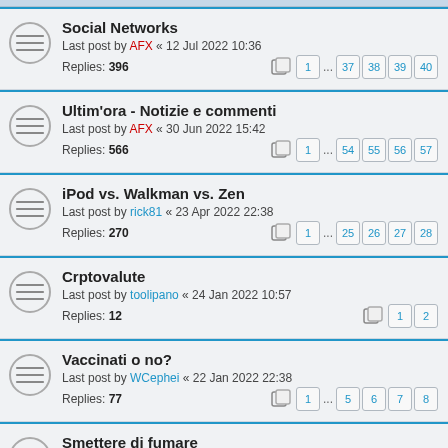Social Networks — Last post by AFX « 12 Jul 2022 10:36 — Replies: 396 — Pages: 1 ... 37 38 39 40
Ultim'ora - Notizie e commenti — Last post by AFX « 30 Jun 2022 15:42 — Replies: 566 — Pages: 1 ... 54 55 56 57
iPod vs. Walkman vs. Zen — Last post by rick81 « 23 Apr 2022 22:38 — Replies: 270 — Pages: 1 ... 25 26 27 28
Crptovalute — Last post by toolipano « 24 Jan 2022 10:57 — Replies: 12 — Pages: 1 2
Vaccinati o no? — Last post by WCephei « 22 Jan 2022 22:38 — Replies: 77 — Pages: 1 ... 5 6 7 8
Smettere di fumare — Last post by The Sheltering Sky « 13 Jan 2022 02:22